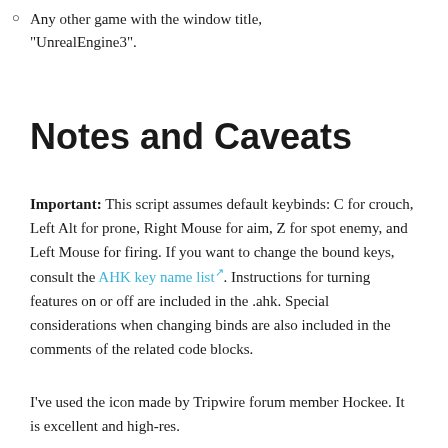Any other game with the window title, "UnrealEngine3".
Notes and Caveats
Important: This script assumes default keybinds: C for crouch, Left Alt for prone, Right Mouse for aim, Z for spot enemy, and Left Mouse for firing. If you want to change the bound keys, consult the AHK key name list. Instructions for turning features on or off are included in the .ahk. Special considerations when changing binds are also included in the comments of the related code blocks.
I've used the icon made by Tripwire forum member Hockee. It is excellent and high-res.